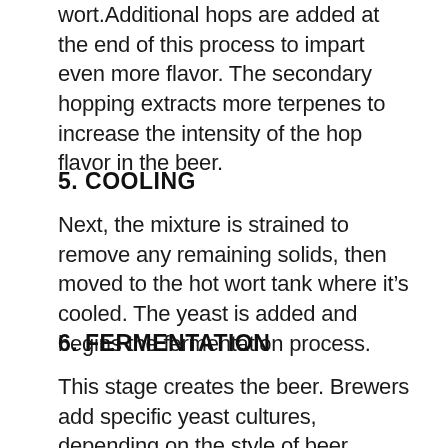wort.Additional hops are added at the end of this process to impart even more flavor. The secondary hopping extracts more terpenes to increase the intensity of the hop flavor in the beer.
5. COOLING
Next, the mixture is strained to remove any remaining solids, then moved to the hot wort tank where it's cooled. The yeast is added and begins the fermentation process.
6. FERMENTATION
This stage creates the beer. Brewers add specific yeast cultures, depending on the style of beer they're producing and what flavors they want to develop.The yeast feeds off the sugars in the wort